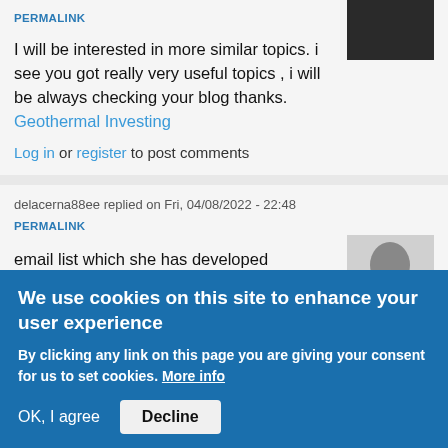PERMALINK
I will be interested in more similar topics. i see you got really very useful topics , i will be always checking your blog thanks. Geothermal Investing
Log in or register to post comments
delacerna88ee replied on Fri, 04/08/2022 - 22:48
PERMALINK
email list which she has developed throughout the long term, that she can use to in a real sense print cash with. Focusing on her email list with
We use cookies on this site to enhance your user experience
By clicking any link on this page you are giving your consent for us to set cookies. More info
OK, I agree   Decline